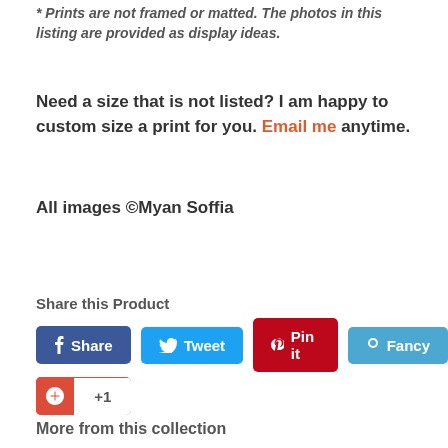* Prints are not framed or matted. The photos in this listing are provided as display ideas.
Need a size that is not listed? I am happy to custom size a print for you. Email me anytime.
All images ©Myan Soffia
Share this Product
[Figure (other): Social sharing buttons: Share (Facebook), Tweet (Twitter), Pin it (Pinterest), Fancy, G+ +1]
More from this collection
[Figure (photo): Two product thumbnail images at the bottom of the page]